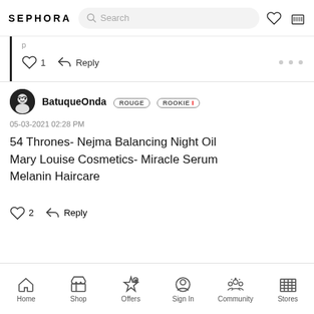SEPHORA
1  Reply
BatuqueOnda  ROUGE  ROOKIE I
05-03-2021 02:28 PM
54 Thrones- Nejma Balancing Night Oil
Mary Louise Cosmetics- Miracle Serum
Melanin Haircare
2  Reply
Home  Shop  Offers  Sign In  Community  Stores